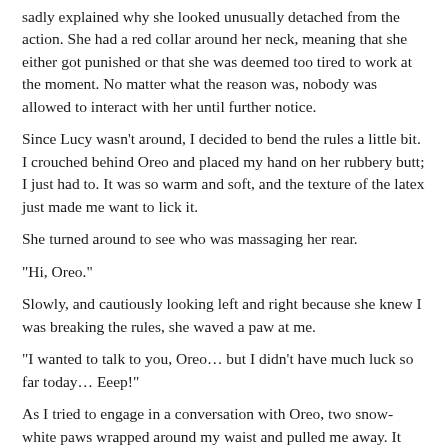sadly explained why she looked unusually detached from the action. She had a red collar around her neck, meaning that she either got punished or that she was deemed too tired to work at the moment. No matter what the reason was, nobody was allowed to interact with her until further notice.
Since Lucy wasn't around, I decided to bend the rules a little bit. I crouched behind Oreo and placed my hand on her rubbery butt; I just had to. It was so warm and soft, and the texture of the latex just made me want to lick it.
She turned around to see who was massaging her rear.
"Hi, Oreo."
Slowly, and cautiously looking left and right because she knew I was breaking the rules, she waved a paw at me.
"I wanted to talk to you, Oreo… but I didn't have much luck so far today… Eeep!"
As I tried to engage in a conversation with Oreo, two snow-white paws wrapped around my waist and pulled me away. It was Asha who didn't seem to appreciate what I was doing or, at the very least, tried to prevent me from making a big mistake. She probably knew what her friend had done to deserve a red collar.